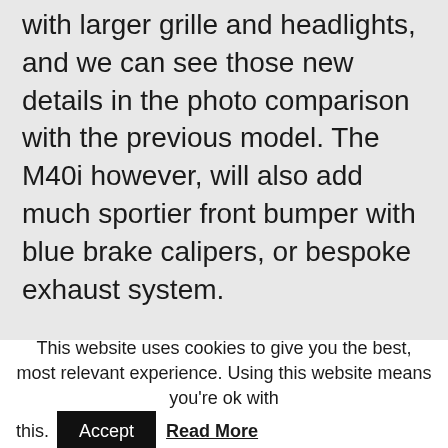with larger grille and headlights, and we can see those new details in the photo comparison with the previous model. The M40i however, will also add much sportier front bumper with blue brake calipers, or bespoke exhaust system.
This website uses cookies to give you the best, most relevant experience. Using this website means you're ok with this. Accept Read More